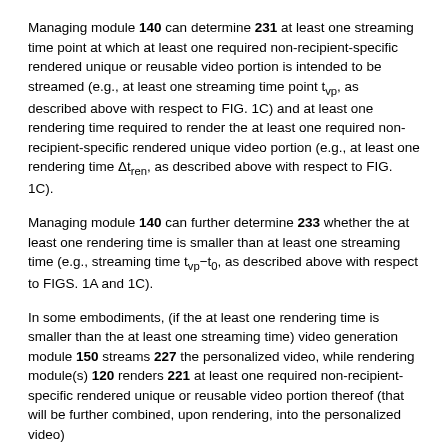Managing module 140 can determine 231 at least one streaming time point at which at least one required non-recipient-specific rendered unique or reusable video portion is intended to be streamed (e.g., at least one streaming time point t_vp, as described above with respect to FIG. 1C) and at least one rendering time required to render the at least one required non-recipient-specific rendered unique video portion (e.g., at least one rendering time Δt_ren, as described above with respect to FIG. 1C).
Managing module 140 can further determine 233 whether the at least one rendering time is smaller than at least one streaming time (e.g., streaming time t_vp−t_0, as described above with respect to FIGS. 1A and 1C).
In some embodiments, (if the at least one rendering time is smaller than the at least one streaming time) video generation module 150 streams 227 the personalized video, while rendering module(s) 120 renders 221 at least one required non-recipient-specific rendered unique or reusable video portion thereof (that will be further combined, upon rendering, into the personalized video)